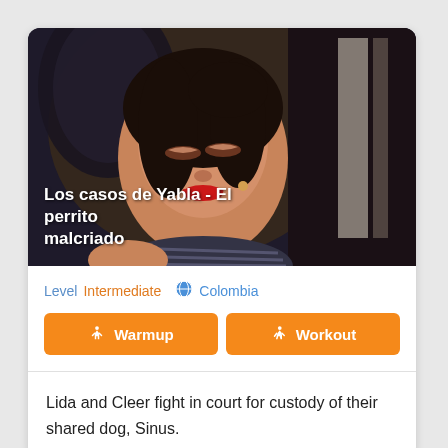[Figure (screenshot): Video thumbnail showing a woman with dark hair smiling, wearing a striped top, seated in a dark chair. Overlay text reads 'Los casos de Yabla - El perrito malcriado']
Los casos de Yabla - El perrito malcriado
Level  Intermediate  🌐  Colombia
Warmup  Workout
Lida and Cleer fight in court for custody of their shared dog, Sinus.